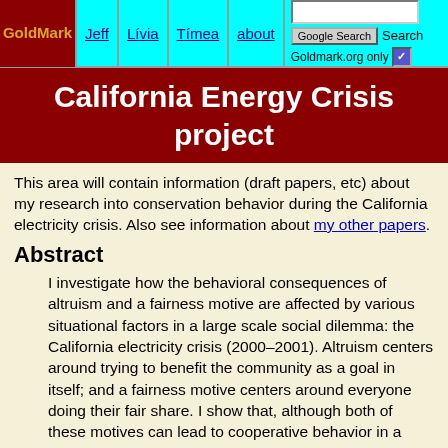GoldMark | Jeff | Lívia | Tímea | about | Google Search | Search | Goldmark.org only
California Energy Crisis project
This area will contain information (draft papers, etc) about my research into conservation behavior during the California electricity crisis. Also see information about my other papers.
Abstract
I investigate how the behavioral consequences of altruism and a fairness motive are affected by various situational factors in a large scale social dilemma: the California electricity crisis (2000–2001). Altruism centers around trying to benefit the community as a goal in itself; and a fairness motive centers around everyone doing their fair share. I show that, although both of these motives can lead to cooperative behavior in a social dilemma, the behavioral consequences of these motives are affected differently by the...